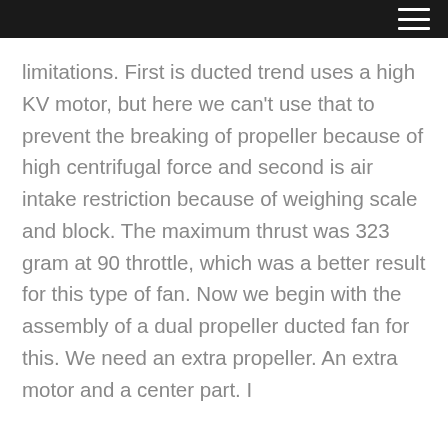limitations. First is ducted trend uses a high KV motor, but here we can't use that to prevent the breaking of propeller because of high centrifugal force and second is air intake restriction because of weighing scale and block. The maximum thrust was 323 gram at 90 throttle, which was a better result for this type of fan. Now we begin with the assembly of a dual propeller ducted fan for this. We need an extra propeller. An extra motor and a center part. I